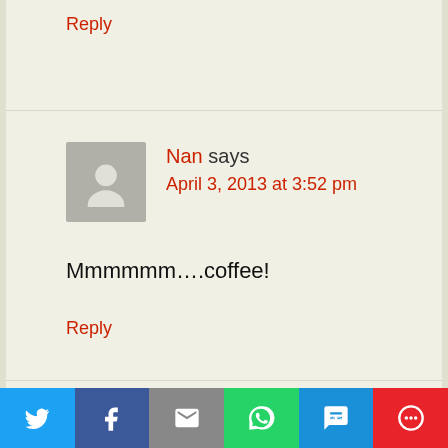Reply
Nan says
April 3, 2013 at 3:52 pm
Mmmmmm….coffee!
Reply
Cassmob (Pauleen) says
April 3, 2013 at 5:02 pm
[Figure (screenshot): Social share bar with icons for Twitter, Facebook, Email, WhatsApp, SMS, and More]